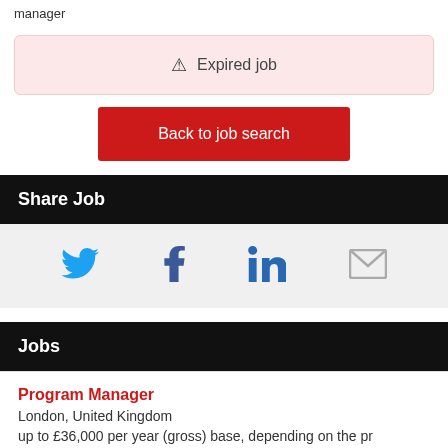manager
⚠ Expired job
Back to job search
Share Job
[Figure (infographic): Social share icons: Twitter, Facebook, LinkedIn, Email]
Jobs
Program Manager
London, United Kingdom
up to £36,000 per year (gross) base, depending on the pr